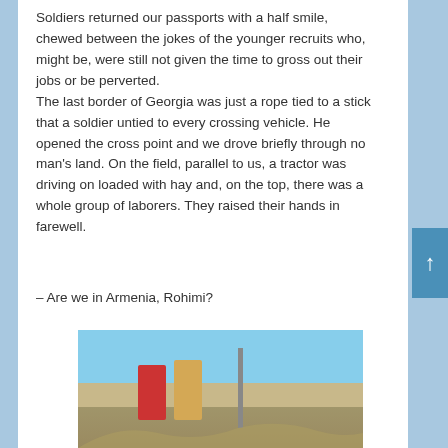Soldiers returned our passports with a half smile, chewed between the jokes of the younger recruits who, might be, were still not given the time to gross out their jobs or be perverted.
The last border of Georgia was just a rope tied to a stick that a soldier untied to every crossing vehicle. He opened the cross point and we drove briefly through no man's land. On the field, parallel to us, a tractor was driving on loaded with hay and, on the top, there was a whole group of laborers. They raised their hands in farewell.
– Are we in Armenia, Rohimi?
[Figure (photo): Two people standing outdoors at a border crossing area with a pole/sign behind them, open landscape and hills in background under blue sky.]